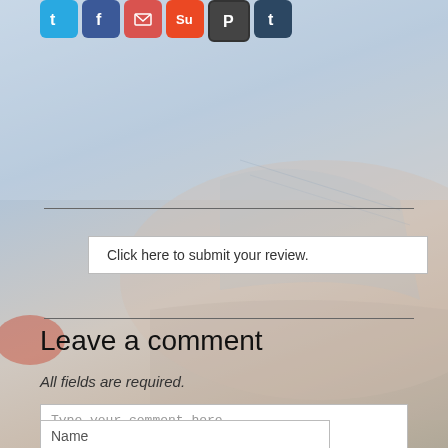[Figure (screenshot): Social media sharing icons: Twitter (blue), Facebook (dark blue), Email (red), StumbleUpon (orange), Pinterest (dark), Tumblr (dark blue)]
Click here to submit your review.
Leave a comment
All fields are required.
Type your comment here.
Name